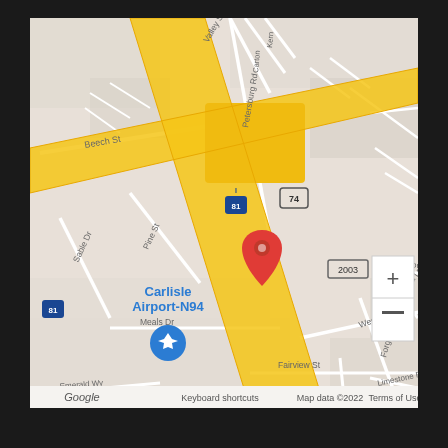[Figure (map): Google Maps screenshot showing Carlisle area with I-81 and Route 74 highways, Carlisle Airport-N94 marker, a red location pin near the highway interchange, street labels including Petersburg Rd, Westminster Dr, Forge Rd, Beech St, Valley St, Pine St, Sable Dr, Wood Ln, Fairview St, Limestone Rd, Meals Dr, Emerald Wy. Map data ©2022.]